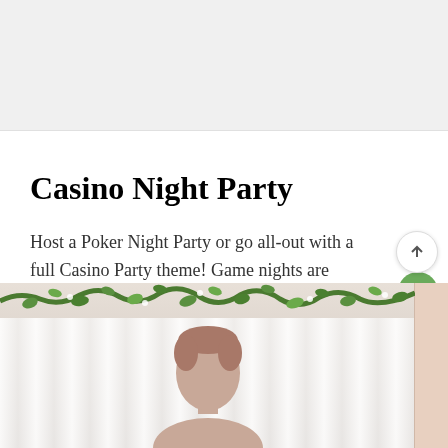Casino Night Party
Host a Poker Night Party or go all-out with a full Casino Party theme! Game nights are always a blast! Check out more from this Casino Night Party hosted by my friend Mariah Leeson HERE!
[Figure (photo): Photo of a woman with short hair at a Casino Night Party event. Green floral garland/vine decoration at the top, white sheer curtain backdrop behind her.]